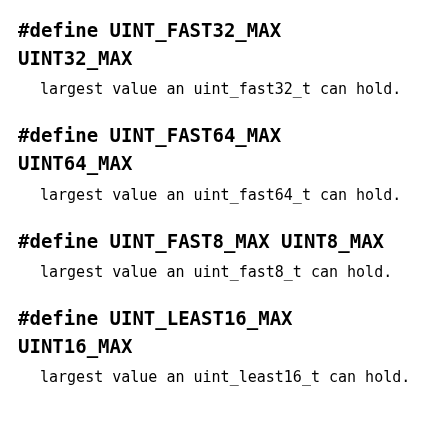#define UINT_FAST32_MAX UINT32_MAX
largest value an uint_fast32_t can hold.
#define UINT_FAST64_MAX UINT64_MAX
largest value an uint_fast64_t can hold.
#define UINT_FAST8_MAX UINT8_MAX
largest value an uint_fast8_t can hold.
#define UINT_LEAST16_MAX UINT16_MAX
largest value an uint_least16_t can hold.